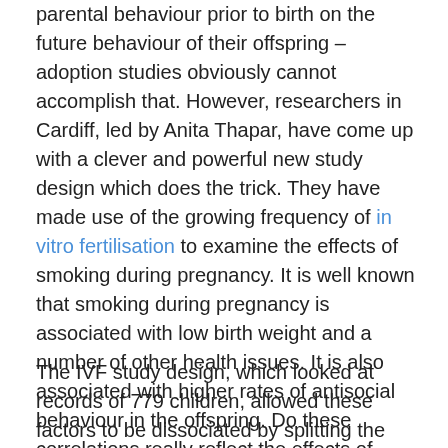parental behaviour prior to birth on the future behaviour of their offspring – adoption studies obviously cannot accomplish that. However, researchers in Cardiff, led by Anita Thapar, have come up with a clever and powerful new study design which does the trick. They have made use of the growing frequency of in vitro fertilisation to examine the effects of smoking during pregnancy. It is well known that smoking during pregnancy is associated with low birth weight and a number of other health issues. It is also associated with higher rates of antisocial behaviour in the offspring. Do these correlations really reflect the effects of smoking itself or could smoking be an indicator of a distinct underlying cause?
The IVF study design, which looked at records of 779 children, allowed these factors to be dissociated by splitting the mothers into two groups – those who were biologically related to their offspring and those who had